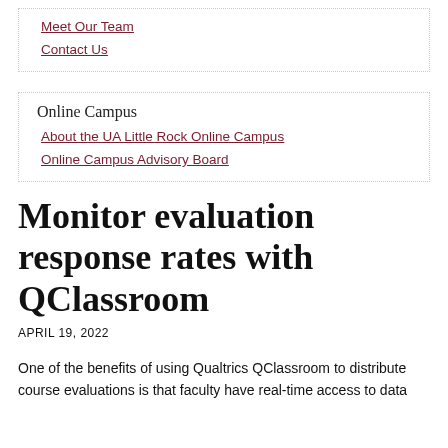Meet Our Team
Contact Us
Online Campus
About the UA Little Rock Online Campus
Online Campus Advisory Board
Monitor evaluation response rates with QClassroom
APRIL 19, 2022
One of the benefits of using Qualtrics QClassroom to distribute course evaluations is that faculty have real-time access to data